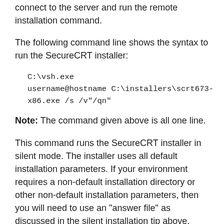connect to the server and run the remote installation command.
The following command line shows the syntax to run the SecureCRT installer:
Note: The command given above is all one line.
This command runs the SecureCRT installer in silent mode. The installer uses all default installation parameters. If your environment requires a non-default installation directory or other non-default installation parameters, then you will need to use an "answer file" as discussed in the silent installation tip above.
If you have VShell 3.6 or later running on the remote